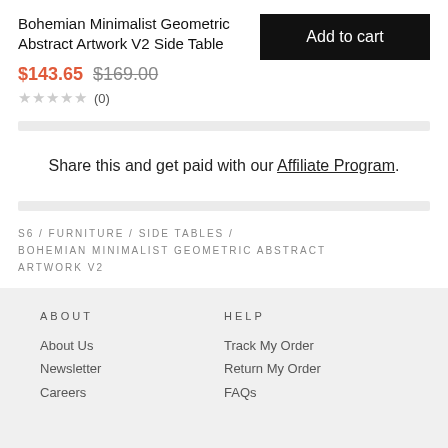Bohemian Minimalist Geometric Abstract Artwork V2 Side Table
$143.65 $169.00
★★★★★ (0)
Add to cart
Share this and get paid with our Affiliate Program.
S6 / FURNITURE / SIDE TABLES / BOHEMIAN MINIMALIST GEOMETRIC ABSTRACT ARTWORK V2
ABOUT
About Us
Newsletter
Careers
HELP
Track My Order
Return My Order
FAQs